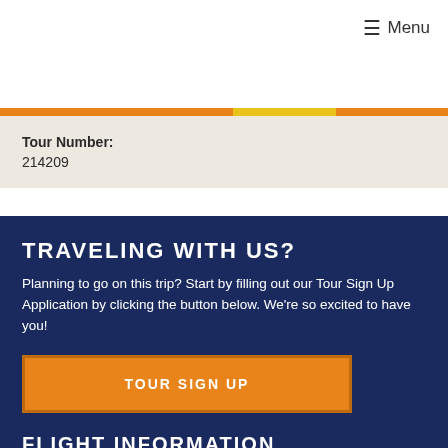≡ Menu
Tour Number:
214209
TRAVELING WITH US?
Planning to go on this trip? Start by filling out our Tour Sign Up Application by clicking the button below. We're so excited to have you!
TOUR SIGN UP
FLIGHT INFORMATION
February 26
Tampa to Washington Dulles